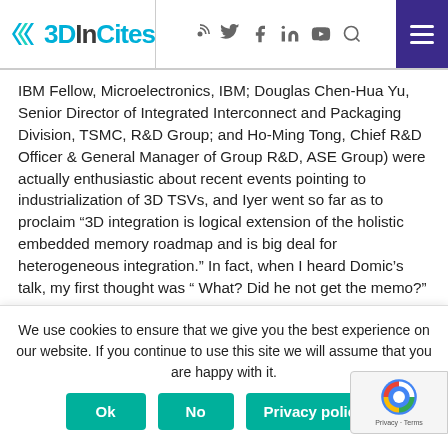3DInCites
IBM Fellow, Microelectronics, IBM; Douglas Chen-Hua Yu, Senior Director of Integrated Interconnect and Packaging Division, TSMC, R&D Group; and Ho-Ming Tong, Chief R&D Officer & General Manager of Group R&D, ASE Group) were actually enthusiastic about recent events pointing to industrialization of 3D TSVs, and Iyer went so far as to proclaim “3D integration is logical extension of the holistic embedded memory roadmap and is big deal for heterogeneous integration.” In fact, when I heard Domic’s talk, my first thought was “ What? Did he not get the memo?”
We use cookies to ensure that we give you the best experience on our website. If you continue to use this site we will assume that you are happy with it.